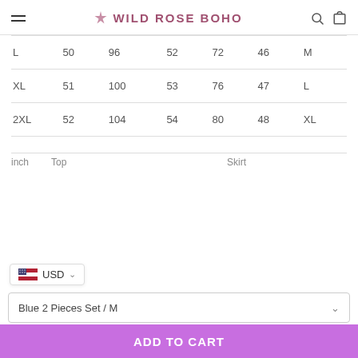Wild Rose Boho
| L | 50 | 96 | 52 | 72 | 46 | M |
| XL | 51 | 100 | 53 | 76 | 47 | L |
| 2XL | 52 | 104 | 54 | 80 | 48 | XL |
inch   Top   Skirt
USD
Blue 2 Pieces Set / M
ADD TO CART